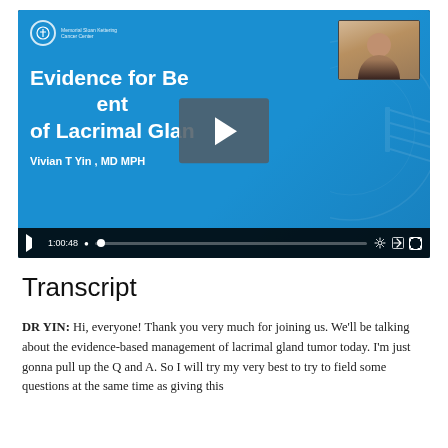[Figure (screenshot): Video player showing a medical lecture slide titled 'Evidence for Best Management of Lacrimal Gland' by Vivian T Yin, MD MPH, with a play button overlay, webcam thumbnail of presenter in top-right, and video controls bar showing timestamp 1:00:48.]
Transcript
DR YIN: Hi, everyone! Thank you very much for joining us. We'll be talking about the evidence-based management of lacrimal gland tumor today. I'm just gonna pull up the Q and A. So I will try my very best to try to field some questions at the same time as giving this